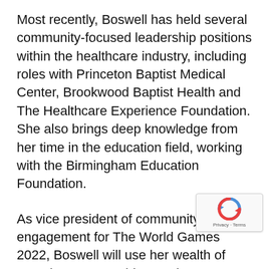Most recently, Boswell has held several community-focused leadership positions within the healthcare industry, including roles with Princeton Baptist Medical Center, Brookwood Baptist Health and The Healthcare Experience Foundation. She also brings deep knowledge from her time in the education field, working with the Birmingham Education Foundation.
As vice president of community engagement for The World Games 2022, Boswell will use her wealth of experience to provide ongoing communication and outreach in the community, cultivate tourism and cultural initiatives, and oversee a number of key